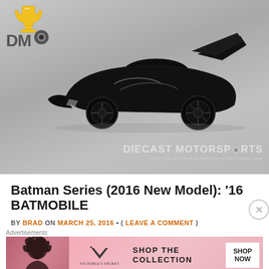[Figure (photo): Photograph of a black Hot Wheels Batmobile diecast toy car on a silver/grey background. The car is sleek and black with angular bat-wing design elements. In the upper left corner is the Diecast Motorsports logo (DM with a trophy icon above). In the lower right corner the watermark text reads 'DIECAST MOTORSPORTS' and 'WWW.DIECASTMOTORSPORTS.WORDPRESS.COM'.]
Batman Series (2016 New Model): '16 BATMOBILE
BY BRAD ON MARCH 25, 2016 • ( LEAVE A COMMENT )
More on the Batman theme, one of my favorite...
Advertisements
[Figure (photo): Victoria's Secret advertisement banner. Pink gradient background with a model on the left side. Victoria's Secret logo in center. Text reads 'SHOP THE COLLECTION' with a white 'SHOP NOW' button on the right.]